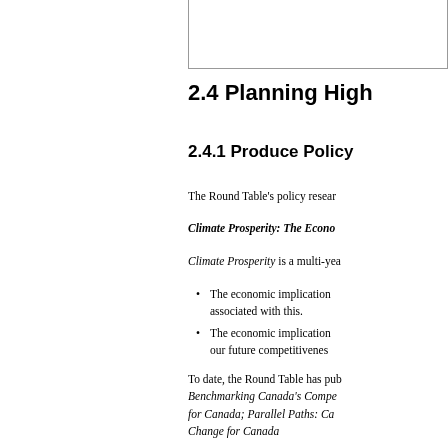2.4 Planning High
2.4.1 Produce Policy
The Round Table's policy resear
Climate Prosperity: The Econo
Climate Prosperity is a multi-yea
The economic implication associated with this.
The economic implication our future competitivenes
To date, the Round Table has pub Benchmarking Canada's Compe for Canada; Parallel Paths: Ca Change for Canada